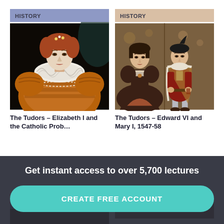[Figure (photo): Course card for 'The Tudors – Elizabeth I and the Catholic Problem' with HISTORY tag and portrait painting of Elizabeth I in ornate Elizabethan dress against dark background]
[Figure (photo): Course card for 'The Tudors – Edward VI and Mary I, 1547-58' with HISTORY tag and painting of two Tudor figures in period costume]
The Tudors — Elizabeth I and the Catholic Problem
The Tudors — Edward VI and Mary I, 1547-58
Get instant access to over 5,700 lectures
CREATE FREE ACCOUNT
[Figure (photo): Partially visible bottom card with HISTORY tag, cut off by overlay]